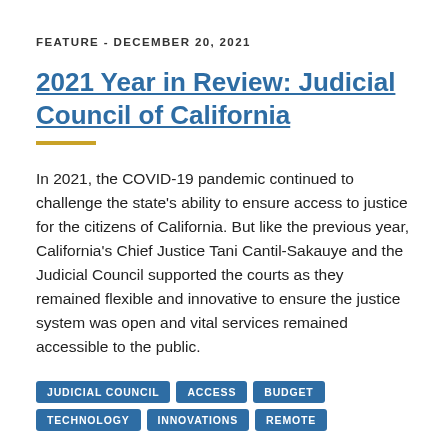FEATURE - DECEMBER 20, 2021
2021 Year in Review: Judicial Council of California
In 2021, the COVID-19 pandemic continued to challenge the state's ability to ensure access to justice for the citizens of California. But like the previous year, California's Chief Justice Tani Cantil-Sakauye and the Judicial Council supported the courts as they remained flexible and innovative to ensure the justice system was open and vital services remained accessible to the public.
JUDICIAL COUNCIL
ACCESS
BUDGET
TECHNOLOGY
INNOVATIONS
REMOTE